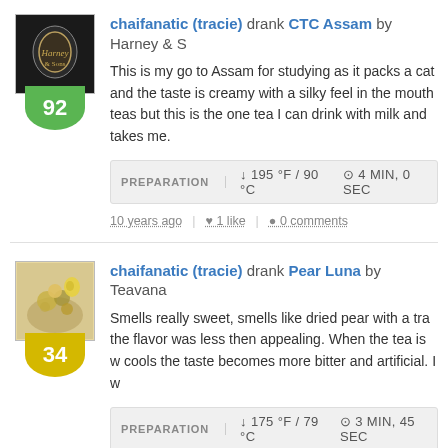[Figure (photo): Avatar image of a tea tin/product with dark background, and a green score badge showing 92]
chaifanatic (tracie) drank CTC Assam by Harney & S
This is my go to Assam for studying as it packs a cat and the taste is creamy with a silky feel in the mouth teas but this is the one tea I can drink with milk and takes me.
PREPARATION  ↓ 195 °F / 90 °C  ⊙ 4 MIN, 0 SEC
10 years ago  |  ♥ 1 like  |  ● 0 comments
[Figure (photo): Avatar image of loose tea leaves with colorful appearance, and a yellow score badge showing 34]
chaifanatic (tracie) drank Pear Luna by Teavana
Smells really sweet, smells like dried pear with a tra the flavor was less then appealing. When the tea is w cools the taste becomes more bitter and artificial. I w
PREPARATION  ↓ 175 °F / 79 °C  ⊙ 3 MIN, 45 SEC